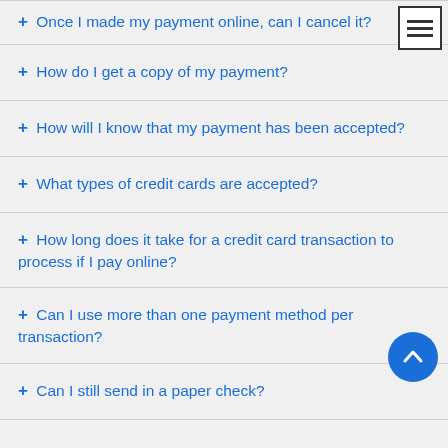+ Once I made my payment online, can I cancel it?
+ How do I get a copy of my payment?
+ How will I know that my payment has been accepted?
+ What types of credit cards are accepted?
+ How long does it take for a credit card transaction to process if I pay online?
+ Can I use more than one payment method per transaction?
+ Can I still send in a paper check?